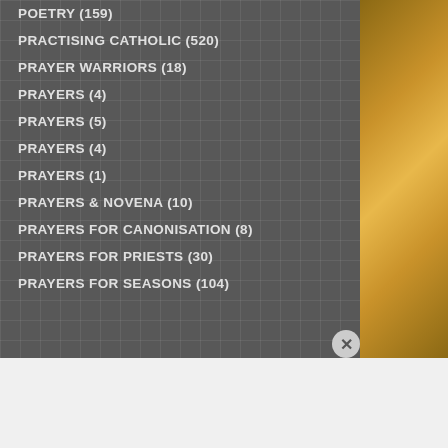POETRY (159)
PRACTISING CATHOLIC (520)
PRAYER WARRIORS (18)
PRAYERS (4)
PRAYERS (5)
PRAYERS (4)
PRAYERS (1)
PRAYERS & NOVENA (10)
PRAYERS for CANONISATION (8)
PRAYERS for PRIESTS (30)
PRAYERS for SEASONS (104)
Advertisements
[Figure (photo): Advertisement banner: Kiss Boring Lips Goodbye - Shop Now - Macy's, showing woman with red lips]